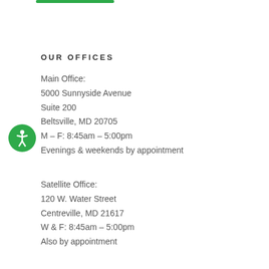OUR OFFICES
Main Office:
5000 Sunnyside Avenue
Suite 200
Beltsville, MD 20705
M – F: 8:45am – 5:00pm
Evenings & weekends by appointment
Satellite Office:
120 W. Water Street
Centreville, MD 21617
W & F: 8:45am – 5:00pm
Also by appointment